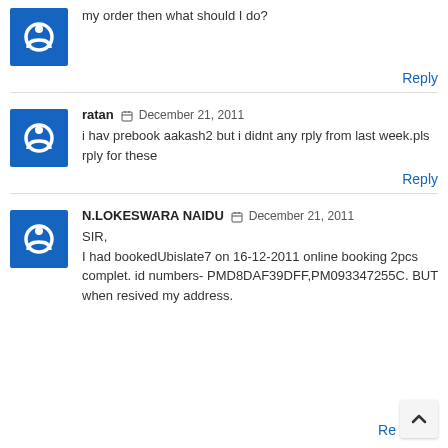my order then what should I do?
Reply
ratan  December 21, 2011
i hav prebook aakash2 but i didnt any rply from last week.pls rply for these
Reply
N.LOKESWARA NAIDU  December 21, 2011
SIR,
I had bookedUbislate7 on 16-12-2011 online booking 2pcs complet. id numbers- PMD8DAF39DFF,PM093347255C. BUT when resived my address.
Re